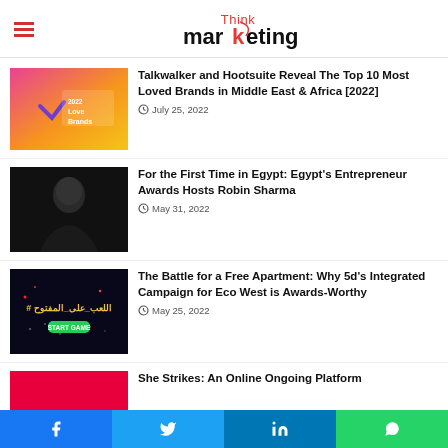Think Marketing
Talkwalker and Hootsuite Reveal The Top 10 Most Loved Brands in Middle East & Africa [2022]
July 25, 2022
For the First Time in Egypt: Egypt's Entrepreneur Awards Hosts Robin Sharma
May 31, 2022
The Battle for a Free Apartment: Why 5d's Integrated Campaign for Eco West is Awards-Worthy
May 25, 2022
She Strikes: An Online Ongoing Platform De CO To Head Function Formulation